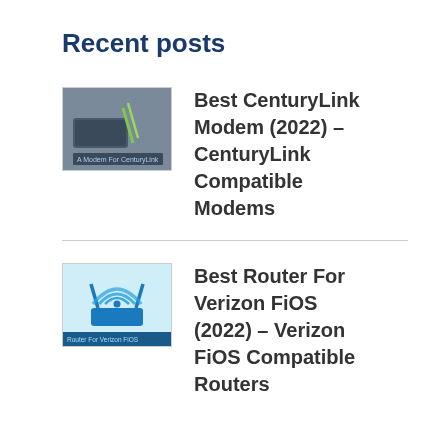Recent posts
Best CenturyLink Modem (2022) – CenturyLink Compatible Modems
Best Router For Verizon FiOS (2022) – Verizon FiOS Compatible Routers